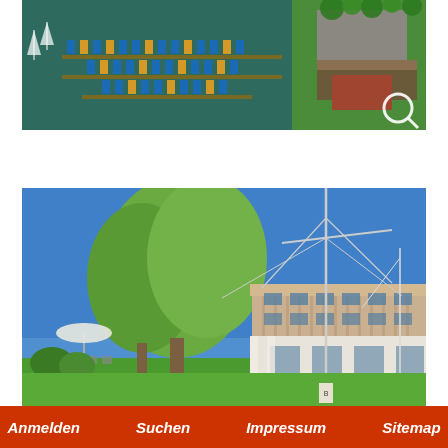[Figure (photo): Aerial view of a marina/sailing club with boats docked in rows on a green lake, with parking lot and buildings visible on shore]
[Figure (photo): Ground-level view of a sailing club building with trees in foreground, mast/rigging visible, outdoor seating area with umbrella on left, modern wooden building]
Anmelden   Suchen   Impressum   Sitemap